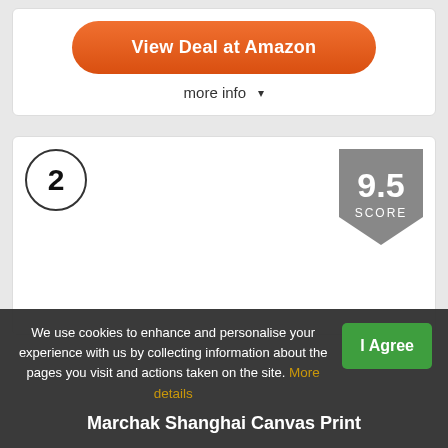[Figure (screenshot): Orange rounded button labeled 'View Deal at Amazon']
more info ▾
2
[Figure (infographic): Shield/badge shape showing score 9.5 with label SCORE in grey]
We use cookies to enhance and personalise your experience with us by collecting information about the pages you visit and actions taken on the site. More details
I Agree
Marchak Shanghai Canvas Print